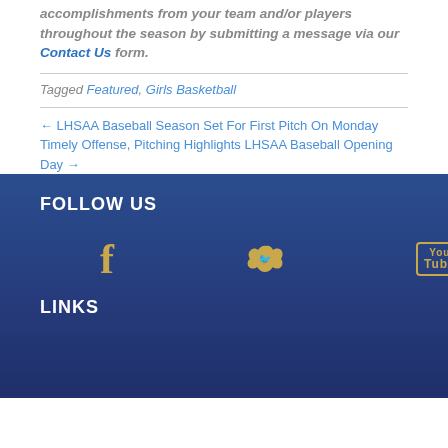accomplishments from your team and/or players throughout the season by submitting a message via our Contact Us form.
Tagged Featured, Girls Basketball
← LHSAA Baseball Season Set For First Pitch On Monday Timely Offense, Pitching Highlights LHSAA Baseball Opening Day →
FOLLOW US
[Figure (illustration): Social media icons: Facebook, Twitter, YouTube in gold color on dark blue background]
LINKS